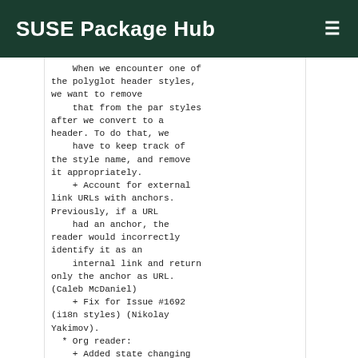SUSE Package Hub
When we encounter one of the polyglot header styles, we want to remove
    that from the par styles after we convert to a header. To do that, we
    have to keep track of the style name, and remove it appropriately.
    + Account for external link URLs with anchors. Previously, if a URL
    had an anchor, the reader would incorrectly identify it as an
    internal link and return only the anchor as URL. (Caleb McDaniel)
    + Fix for Issue #1692 (i18n styles) (Nikolay Yakimov).
  * Org reader:
    + Added state changing blanklines (Jesse Rosenthal).
    This allows us to emphasize at the beginning of a new paragraph (or, in
    general, after blank lines).
    + Fixed bug with bulleted lists:
  - a